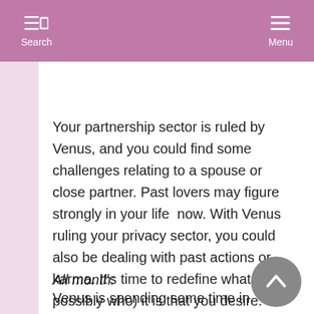Search  Menu
Your partnership sector is ruled by Venus, and you could find some challenges relating to a spouse or close partner. Past lovers may figure strongly in your life  now. With Venus ruling your privacy sector, you could also be dealing with past actions or karma. It's time to redefine what (and possibly who) it is that you desire.
All month:
Venus is spending some time in "hibernation" in your privacy sector. Now, this doesn't necessarily